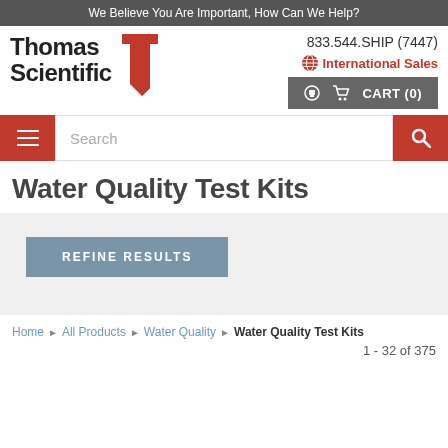We Believe You Are Important, How Can We Help?
[Figure (logo): Thomas Scientific logo with red geometric T mark]
833.544.SHIP (7447)
International Sales
CART (0)
Search
Water Quality Test Kits
REFINE RESULTS
Home › All Products › Water Quality › Water Quality Test Kits
1 - 32 of 375